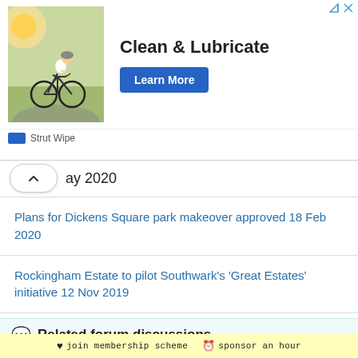[Figure (photo): Advertisement banner: cyclist on road with 'Clean & Lubricate' headline and 'Learn More' button, branded Strut Wipe]
ay 2020
Plans for Dickens Square park makeover approved 18 Feb 2020
Rockingham Estate to pilot Southwark's 'Great Estates' initiative 12 Nov 2019
Green light for 21-storey office tower on Rockingham Street 18 Sep 2019
McCaulay Junior Urugbezi-Edwards: 17-year-old charged with murder 10 Jul 2019
Related forum discussions
♥ join membership scheme   ⏰ sponsor an hour